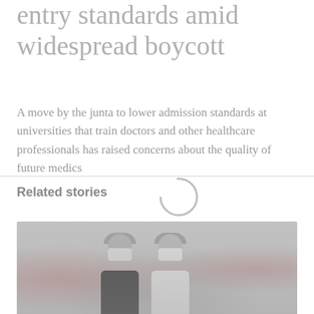entry standards amid widespread boycott
A move by the junta to lower admission standards at universities that train doctors and other healthcare professionals has raised concerns about the quality of future medics
Related stories
[Figure (photo): Two people wearing face masks and caps standing in a crowd at what appears to be a protest, with red banners visible in the background]